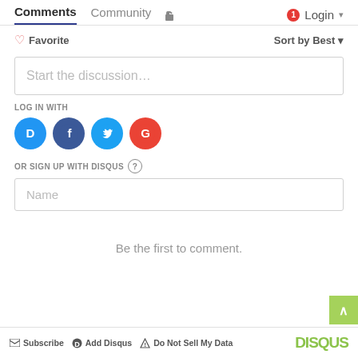Comments   Community   Login
❤ Favorite   Sort by Best ▾
Start the discussion…
LOG IN WITH
[Figure (infographic): Four social login buttons: Disqus (blue circle with D), Facebook (dark blue circle with f), Twitter (light blue circle with bird), Google (red circle with G)]
OR SIGN UP WITH DISQUS ?
Name
Be the first to comment.
✉ Subscribe   D Add Disqus   ▲ Do Not Sell My Data   DISQUS